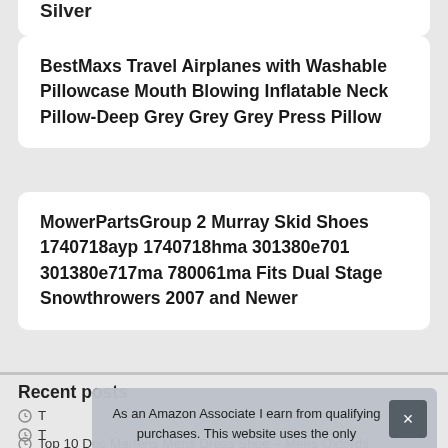Silver
BestMaxs Travel Airplanes with Washable Pillowcase Mouth Blowing Inflatable Neck Pillow-Deep Grey Grey Grey Press Pillow
MowerPartsGroup 2 Murray Skid Shoes 1740718ayp 1740718hma 301380e701 301380e717ma 780061ma Fits Dual Stage Snowthrowers 2007 and Newer
Recent posts
T
T
Top 10 Doc Martens Mens Dress Shoe – Mens Oxfords
As an Amazon Associate I earn from qualifying purchases. This website uses the only necessary cookies to ensure you get the best experience on our website. More information